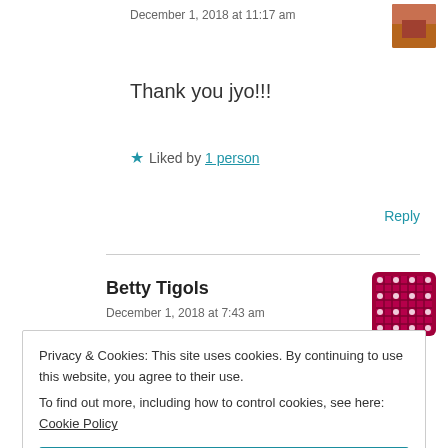December 1, 2018 at 11:17 am
[Figure (photo): User avatar photo, partially visible, top right corner]
Thank you jyo!!!
★ Liked by 1 person
Reply
Betty Tigols
December 1, 2018 at 7:43 am
[Figure (logo): Betty Tigols avatar — decorative grid/tile icon in dark red/maroon]
Privacy & Cookies: This site uses cookies. By continuing to use this website, you agree to their use.
To find out more, including how to control cookies, see here: Cookie Policy
Close and accept